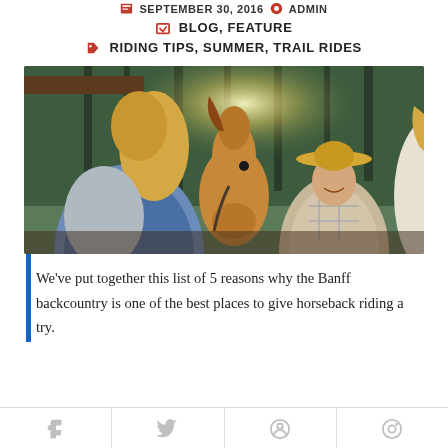SEPTEMBER 30, 2016  ADMIN
BLOG, FEATURE
RIDING TIPS, SUMMER, TRAIL RIDES
[Figure (photo): Two women and a wrangler in a straw hat standing with a palomino horse in a forested area, sunlight streaming through trees]
We’ve put together this list of 5 reasons why the Banff backcountry is one of the best places to give horseback riding a try.